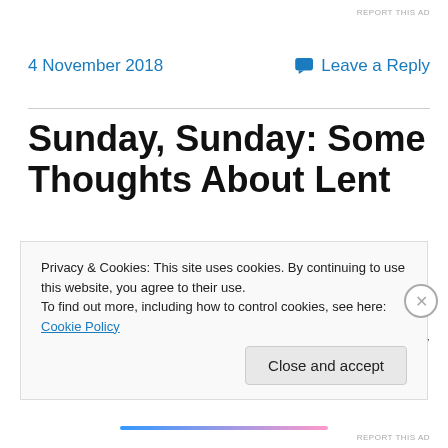REPORT THIS AD
4 November 2018
Leave a Reply
Sunday, Sunday: Some Thoughts About Lent
WARNING: This post is very disjointed. Sorry about the hop, skip, jumpiness of it. In the words of Nehemiah: “I am doing a great work and I cannot come down.” Apparently, I can’t write today either. Ha!
Privacy & Cookies: This site uses cookies. By continuing to use this website, you agree to their use.
To find out more, including how to control cookies, see here: Cookie Policy
Close and accept
REPORT THIS AD